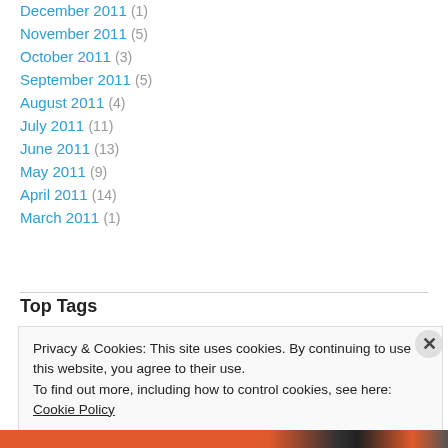December 2011 (1)
November 2011 (5)
October 2011 (3)
September 2011 (5)
August 2011 (4)
July 2011 (11)
June 2011 (13)
May 2011 (9)
April 2011 (14)
March 2011 (1)
Top Tags
Privacy & Cookies: This site uses cookies. By continuing to use this website, you agree to their use.
To find out more, including how to control cookies, see here: Cookie Policy
Close and accept